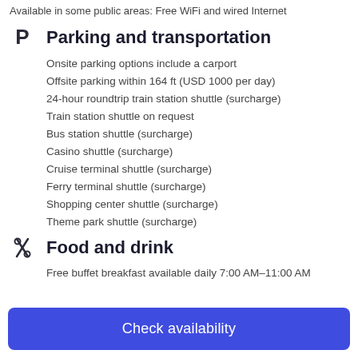Available in some public areas: Free WiFi and wired Internet
Parking and transportation
Onsite parking options include a carport
Offsite parking within 164 ft (USD 1000 per day)
24-hour roundtrip train station shuttle (surcharge)
Train station shuttle on request
Bus station shuttle (surcharge)
Casino shuttle (surcharge)
Cruise terminal shuttle (surcharge)
Ferry terminal shuttle (surcharge)
Shopping center shuttle (surcharge)
Theme park shuttle (surcharge)
Food and drink
Free buffet breakfast available daily 7:00 AM–11:00 AM
Check availability